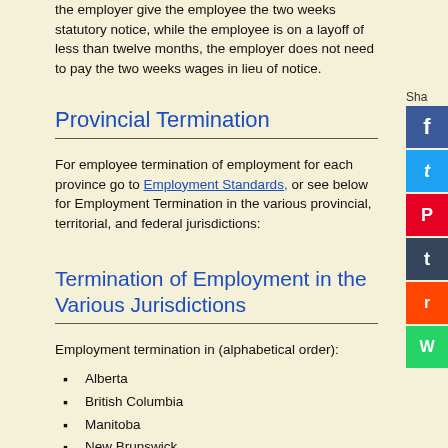the employer give the employee the two weeks statutory notice, while the employee is on a layoff of less than twelve months, the employer does not need to pay the two weeks wages in lieu of notice.
Provincial Termination
For employee termination of employment for each province go to Employment Standards, or see below for Employment Termination in the various provincial, territorial, and federal jurisdictions:
Termination of Employment in the Various Jurisdictions
Employment termination in (alphabetical order):
Alberta
British Columbia
Manitoba
New Brunswick
Newfoundland and Labrador
Nova Scotia
Ontario
Prince Edward Island
Quebec
Saskatchewan